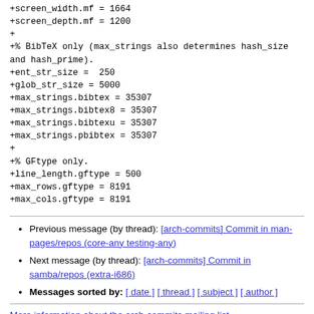+screen_width.mf = 1664
+screen_depth.mf = 1200
+
+% BibTeX only (max_strings also determines hash_size and hash_prime).
+ent_str_size =  250
+glob_str_size = 5000
+max_strings.bibtex = 35307
+max_strings.bibtex8 = 35307
+max_strings.bibtexu = 35307
+max_strings.pbibtex = 35307
+
+% GFtype only.
+line_length.gftype = 500
+max_rows.gftype = 8191
+max_cols.gftype = 8191
Previous message (by thread): [arch-commits] Commit in man-pages/repos (core-any testing-any)
Next message (by thread): [arch-commits] Commit in samba/repos (extra-i686)
Messages sorted by: [ date ] [ thread ] [ subject ] [ author ]
More information about the arch-commits mailing list